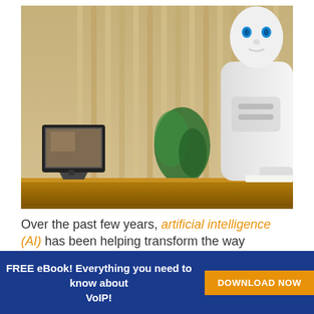[Figure (photo): A humanoid robot with white body and blue eyes standing at a reception desk, with a tablet/display on a stand to the left, a green plant in the background, and wooden vertical paneling on the wall.]
Over the past few years, artificial intelligence (AI) has been helping transform the way businesses operate
FREE eBook! Everything you need to know about VoIP! DOWNLOAD NOW